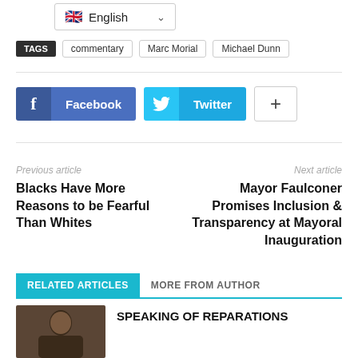English (language selector)
Tags  commentary  Marc Morial  Michael Dunn
[Figure (infographic): Social share buttons: Facebook (blue), Twitter (cyan), and a plus (+) button]
Previous article
Blacks Have More Reasons to be Fearful Than Whites
Next article
Mayor Faulconer Promises Inclusion & Transparency at Mayoral Inauguration
RELATED ARTICLES  MORE FROM AUTHOR
SPEAKING OF REPARATIONS
[Figure (photo): Thumbnail photo of a man]